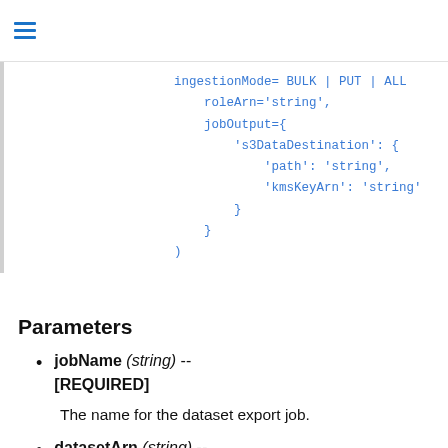≡ (navigation menu icon)
ingestionMode= BULK | PUT | ALL
    roleArn='string',
    jobOutput={
        's3DataDestination': {
            'path': 'string',
            'kmsKeyArn': 'string'
        }
    }
)
Parameters
jobName (string) -- [REQUIRED]
The name for the dataset export job.
datasetArn (string) -- [REQUIRED]
The Amazon Resource Name (ARN) of the dataset that contains the data to